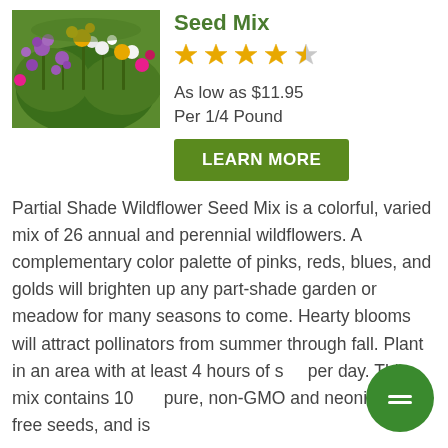[Figure (photo): Colorful wildflower meadow with purple, white, yellow and pink flowers]
Seed Mix
[Figure (other): 4.5 out of 5 stars rating shown in orange star icons]
As low as $11.95
Per 1/4 Pound
LEARN MORE
Partial Shade Wildflower Seed Mix is a colorful, varied mix of 26 annual and perennial wildflowers. A complementary color palette of pinks, reds, blues, and golds will brighten up any part-shade garden or meadow for many seasons to come. Hearty blooms will attract pollinators from summer through fall. Plant in an area with at least 4 hours of s… per day. This mix contains 10… pure, non-GMO and neonicotinoid-free seeds, and is